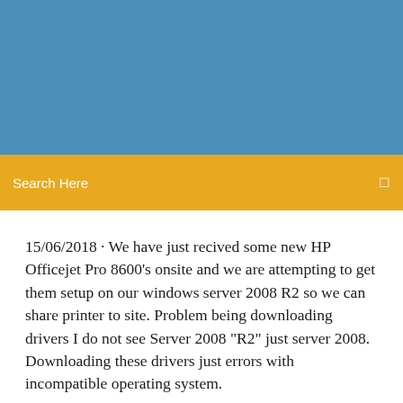[Figure (other): Blue header banner background]
Search Here
15/06/2018 · We have just recived some new HP Officejet Pro 8600's onsite and we are attempting to get them setup on our windows server 2008 R2 so we can share printer to site. Problem being downloading drivers I do not see Server 2008 "R2" just server 2008. Downloading these drivers just errors with incompatible operating system.